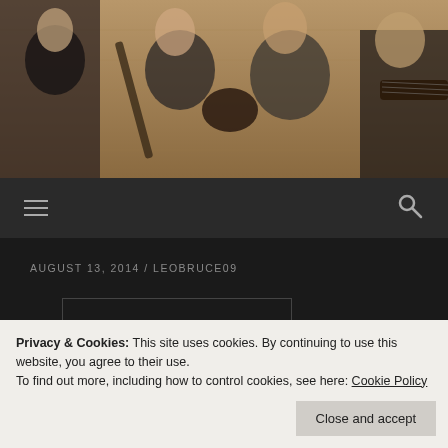[Figure (photo): Photo of four young men (The Beatles) in a room with wooden paneling, playing guitars and posing.]
≡   🔍
AUGUST 13, 2014 / LEOBRUCE09
[Figure (photo): Dark interior photo showing a curved structure with small lights, possibly a concert hall or piano lid, with auditorium seating visible at the bottom.]
Privacy & Cookies: This site uses cookies. By continuing to use this website, you agree to their use.
To find out more, including how to control cookies, see here: Cookie Policy
Close and accept